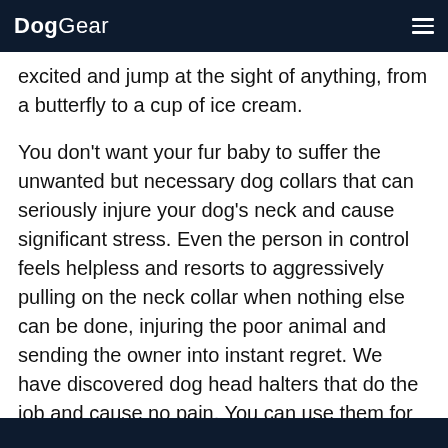DogGear
excited and jump at the sight of anything, from a butterfly to a cup of ice cream.
You don't want your fur baby to suffer the unwanted but necessary dog collars that can seriously injure your dog's neck and cause significant stress. Even the person in control feels helpless and resorts to aggressively pulling on the neck collar when nothing else can be done, injuring the poor animal and sending the owner into instant regret. We have discovered dog head halters that do the job and cause no pain. You can use them for training your dog with the same discipline but less pain. So, join us to review our favorite dog halters of 2021 for your dog.